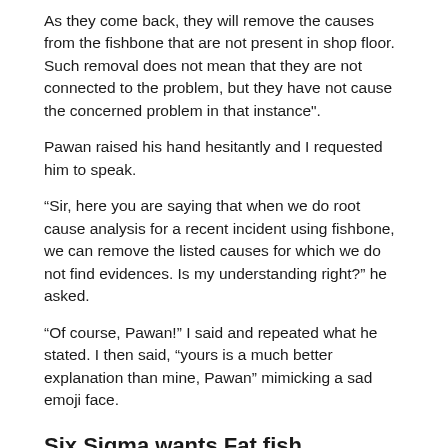As they come back, they will remove the causes from the fishbone that are not present in shop floor. Such removal does not mean that they are not connected to the problem, but they have not cause the concerned problem in that instance".
Pawan raised his hand hesitantly and I requested him to speak.
“Sir, here you are saying that when we do root cause analysis for a recent incident using fishbone, we can remove the listed causes for which we do not find evidences. Is my understanding right?” he asked.
“Of course, Pawan!” I said and repeated what he stated. I then said, “yours is a much better explanation than mine, Pawan” mimicking a sad emoji face.
Six Sigma wants Fat fish
“However, we do not use DMAIC for one failure or a recent failure instance, where we can directly go and find the root cause” I said.
“Six sigma requires us to...